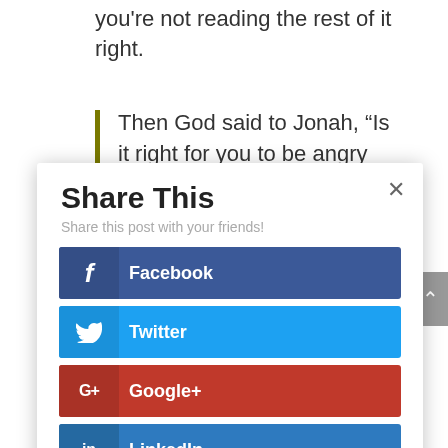you're not reading the rest of it right.
Then God said to Jonah, “Is it right for you to be angry
Share This
Share this post with your friends!
Facebook
Twitter
Google+
LinkedIn